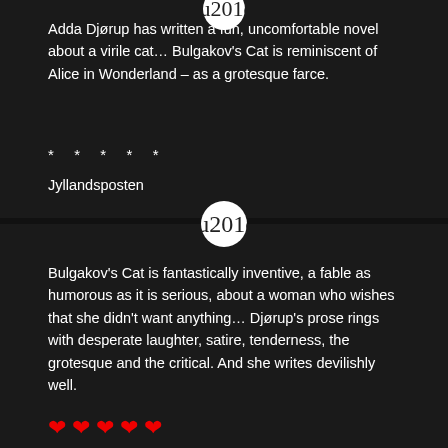[Figure (illustration): White circle with dark double closing quotation mark icon]
Adda Djørup has written a fun, uncomfortable novel about a virile cat… Bulgakov's Cat is reminiscent of Alice in Wonderland – as a grotesque farce.
* * * * *
Jyllandsposten
[Figure (illustration): White circle with dark double closing quotation mark icon]
Bulgakov's Cat is fantastically inventive, a fable as humorous as it is serious, about a woman who wishes that she didn't want anything… Djørup's prose rings with desperate laughter, satire, tenderness, the grotesque and the critical. And she writes devilishly well.
[Figure (illustration): Five red heart symbols indicating a five-heart rating]